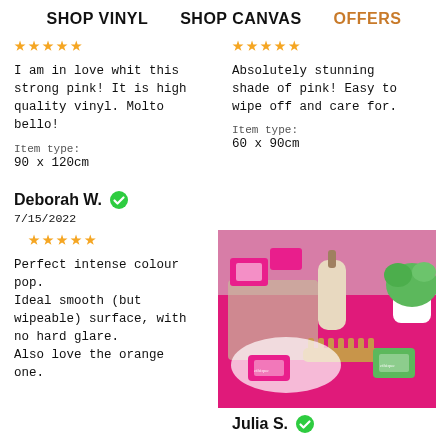SHOP VINYL   SHOP CANVAS   OFFERS
★★★★★
I am in love whit this strong pink! It is high quality vinyl. Molto bello!
Item type:
90 x 120cm
★★★★★
Absolutely stunning shade of pink! Easy to wipe off and care for.
Item type:
60 x 90cm
Deborah W. ✔
7/15/2022
★★★★★
Perfect intense colour pop.
Ideal smooth (but wipeable) surface, with no hard glare.
Also love the orange one.
[Figure (photo): Product photo showing pink surface with bathroom accessories including soap dispenser, comb, plant, and Ethique branded products]
Julia S. ✔